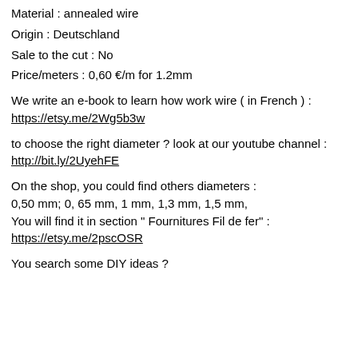Material : annealed wire
Origin : Deutschland
Sale to the cut : No
Price/meters : 0,60 €/m for 1.2mm
We write an e-book to learn how work wire ( in French ) :
https://etsy.me/2Wg5b3w
to choose the right diameter ? look at our youtube channel :
http://bit.ly/2UyehFE
On the shop, you could find others diameters :
0,50 mm; 0, 65 mm, 1 mm, 1,3 mm, 1,5 mm,
You will find it in section " Fournitures Fil de fer" :
https://etsy.me/2pscOSR
You search some DIY ideas ?